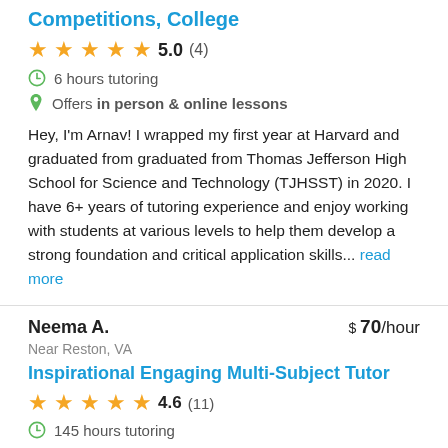Competitions, College
5.0 (4)
6 hours tutoring
Offers in person & online lessons
Hey, I'm Arnav! I wrapped my first year at Harvard and graduated from graduated from Thomas Jefferson High School for Science and Technology (TJHSST) in 2020. I have 6+ years of tutoring experience and enjoy working with students at various levels to help them develop a strong foundation and critical application skills... read more
Neema A.   $ 70/hour
Near Reston, VA
Inspirational Engaging Multi-Subject Tutor
4.6 (11)
145 hours tutoring